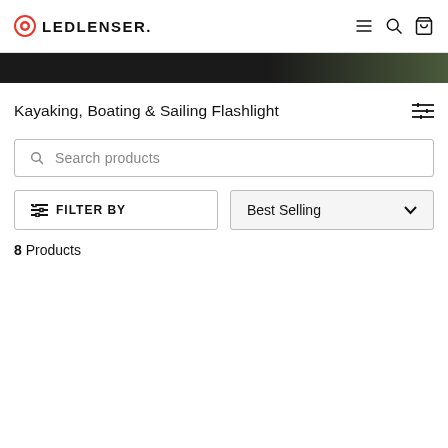LEDLENSER
[Figure (photo): Dark hero image strip at top of product listing page]
Kayaking, Boating & Sailing Flashlight
Search products
FILTER BY
Best Selling
8 Products